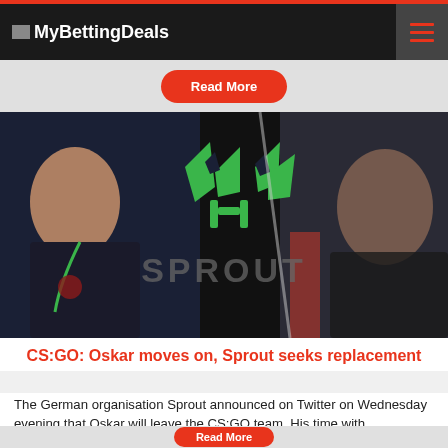MyBettingDeals
Read More
[Figure (photo): Esports players at computers with the Sprout team logo and wordmark overlaid in the center of the image.]
CS:GO: Oskar moves on, Sprout seeks replacement
The German organisation Sprout announced on Twitter on Wednesday evening that Oskar will leave the CS:GO team. His time with...
Read More